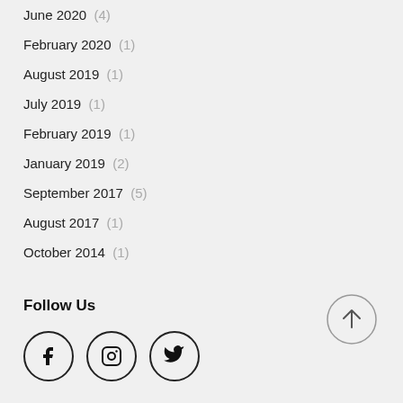June 2020  (4)
February 2020  (1)
August 2019  (1)
July 2019  (1)
February 2019  (1)
January 2019  (2)
September 2017  (5)
August 2017  (1)
October 2014  (1)
Follow Us
[Figure (infographic): Social media icons in circles: Facebook, Instagram, Twitter]
[Figure (infographic): Back to top button: circle with upward arrow]